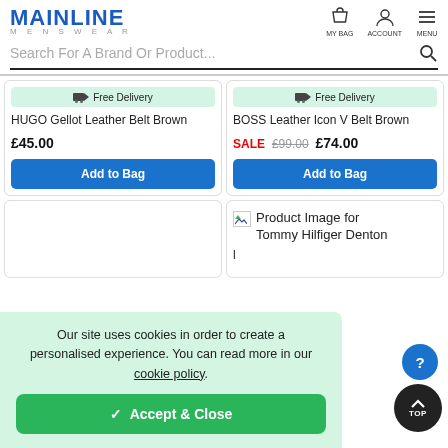MAINLINE MENSWEAR
Search For A Brand Or Product...
Free Delivery — HUGO Gellot Leather Belt Brown — £45.00 — Add to Bag
Free Delivery — BOSS Leather Icon V Belt Brown — SALE £99.00 £74.00 — Add to Bag
[Figure (screenshot): Product image placeholder for Tommy Hilfiger Denton belt]
Product Image for Tommy Hilfiger Denton
Our site uses cookies in order to create a personalised experience. You can read more in our cookie policy.
✓ Accept & Close